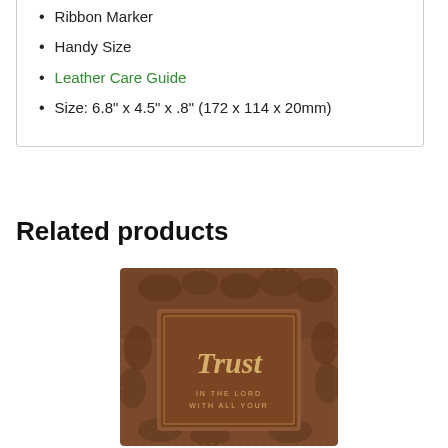Ribbon Marker
Handy Size
Leather Care Guide
Size: 6.8" x 4.5" x .8" (172 x 114 x 20mm)
Related products
[Figure (photo): Brown leather-bound book with embossed floral pattern and a rectangular frame in the center containing the word 'Trust' in gold script, with smaller text below reading 'IN THE LORD WITH ALL YOUR']